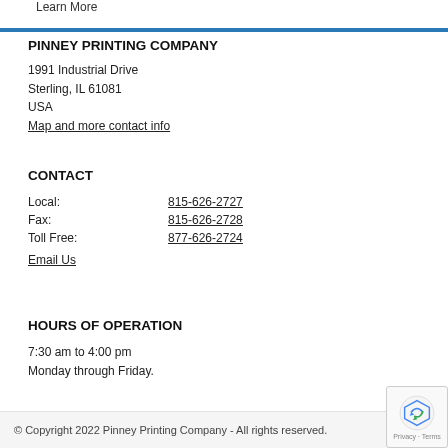Learn More
PINNEY PRINTING COMPANY
1991 Industrial Drive
Sterling, IL 61081
USA
Map and more contact info
CONTACT
| Local: | 815-626-2727 |
| Fax: | 815-626-2728 |
| Toll Free: | 877-626-2724 |
Email Us
HOURS OF OPERATION
7:30 am to 4:00 pm
Monday through Friday.
© Copyright 2022 Pinney Printing Company - All rights reserved.